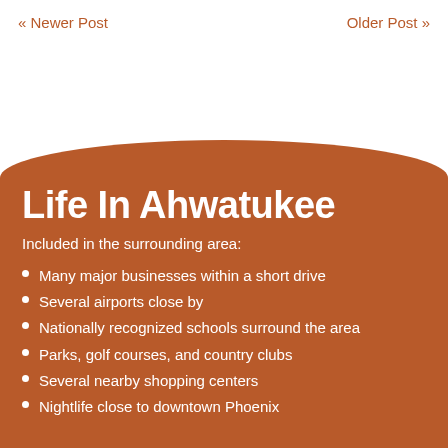<< Newer Post    Older Post >>
Life In Ahwatukee
Included in the surrounding area:
Many major businesses within a short drive
Several airports close by
Nationally recognized schools surround the area
Parks, golf courses, and country clubs
Several nearby shopping centers
Nightlife close to downtown Phoenix